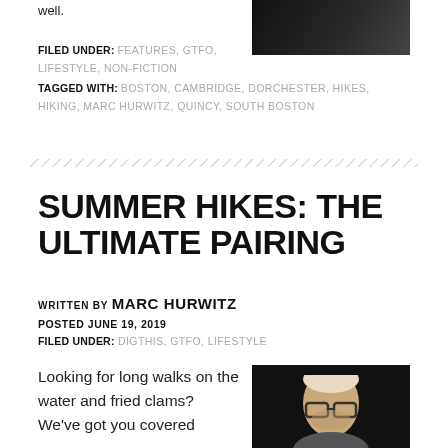well.
FILED UNDER: FEATURES, GTFO, LIFESTYLE, NON-FICTION
TAGGED WITH: BOSTON, CAMBRIDGE, DORCHESTER, HIKES, HIKING, MARC HURWITZ, QUINCY, SOUTH BOSTON
[Figure (other): Diagonal hatching divider line]
SUMMER HIKES: THE ULTIMATE PAIRING
WRITTEN BY MARC HURWITZ
POSTED JUNE 19, 2019
FILED UNDER: DIGTHIS, GTFO, LIFESTYLE
Looking for long walks on the water and fried clams? We've got you covered
[Figure (photo): Dark portrait photo of Marc Hurwitz wearing glasses]